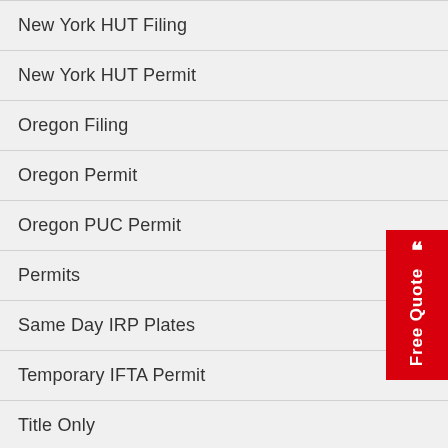New York HUT Filing
New York HUT Permit
Oregon Filing
Oregon Permit
Oregon PUC Permit
Permits
Same Day IRP Plates
Temporary IFTA Permit
Title Only